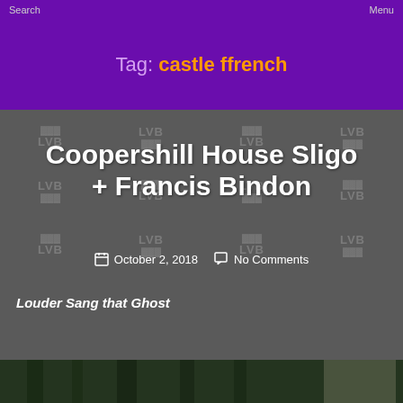Search    Menu
Tag: castle ffrench
Coopershill House Sligo + Francis Bindon
October 2, 2018   No Comments
Louder Sang that Ghost
[Figure (photo): Dark forest/trees photo at the bottom of the page]